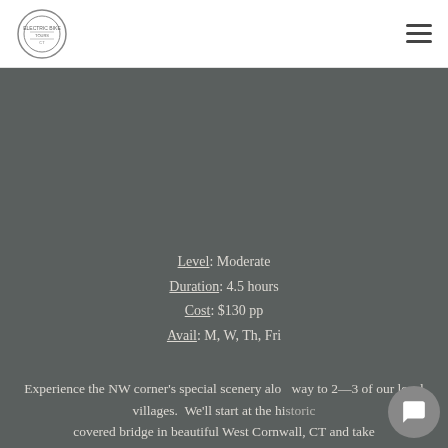Electric Bike Tours logo and navigation menu
[Figure (photo): Dark gray/olive background hero image area, partially visible landscape or tour scene]
Level: Moderate
Duration: 4.5 hours
Cost: $130 pp
Avail: M, W, Th, Fri
Experience the NW corner's special scenery alo  way to 2—3 of our local villages.  We'll start at the historic covered bridge in beautiful West Cornwall, CT and take